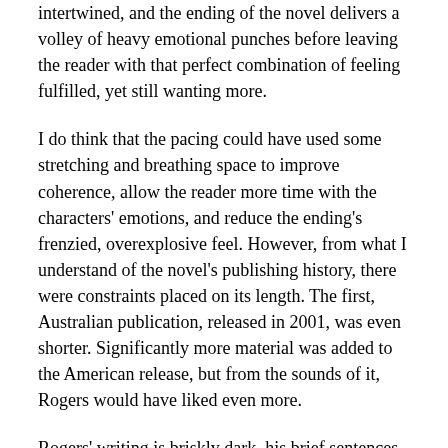intertwined, and the ending of the novel delivers a volley of heavy emotional punches before leaving the reader with that perfect combination of feeling fulfilled, yet still wanting more.
I do think that the pacing could have used some stretching and breathing space to improve coherence, allow the reader more time with the characters' emotions, and reduce the ending's frenzied, overexplosive feel. However, from what I understand of the novel's publishing history, there were constraints placed on its length. The first, Australian publication, released in 2001, was even shorter. Significantly more material was added to the American release, but from the sounds of it, Rogers would have liked even more.
Rogers' writing is briskly dark, his brief sentences filled with a subtle, glancing menace, capable of both brutality and a wistful, fairy-tale loveliness. He seems to write with a grim kind of exhilaration, as aware of the emotional and spiritual weight of the story and its characters as he is of the breathtaking leaps of imagination employed in fully animating